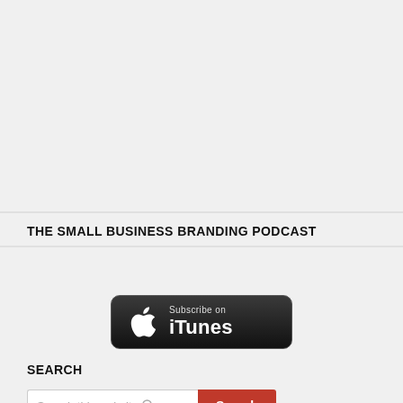THE SMALL BUSINESS BRANDING PODCAST
[Figure (logo): Subscribe on iTunes black badge button with Apple logo]
SEARCH
Search this website [Search button]